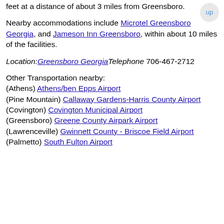feet at a distance of about 3 miles from Greensboro.
Nearby accommodations include Microtel Greensboro Georgia, and Jameson Inn Greensboro, within about 10 miles of the facilities.
Location: Greensboro Georgia Telephone 706-467-2712
Other Transportation nearby: (Athens) Athens/ben Epps Airport (Pine Mountain) Callaway Gardens-Harris County Airport (Covington) Covington Municipal Airport (Greensboro) Greene County Airpark Airport (Lawrenceville) Gwinnett County - Briscoe Field Airport (Palmetto) South Fulton Airport